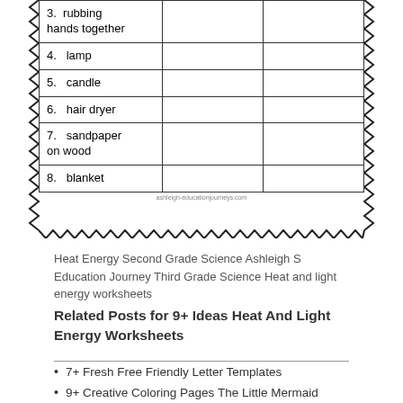[Figure (other): Partial worksheet table showing items: 3. rubbing hands together, 4. lamp, 5. candle, 6. hair dryer, 7. sandpaper on wood, 8. blanket — with two empty columns for student responses. Table has zigzag decorative border.]
Heat Energy Second Grade Science Ashleigh S Education Journey Third Grade Science Heat and light energy worksheets
Related Posts for 9+ Ideas Heat And Light Energy Worksheets
7+ Fresh Free Friendly Letter Templates
9+ Creative Coloring Pages The Little Mermaid